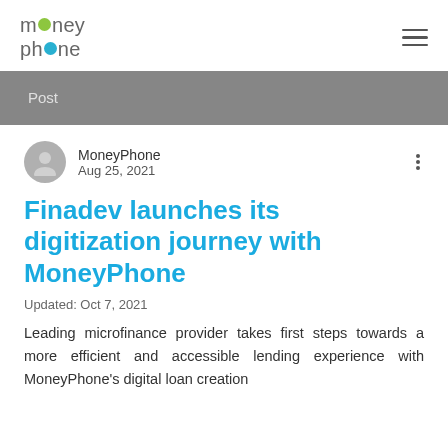MoneyPhone [logo]
Post
MoneyPhone
Aug 25, 2021
Finadev launches its digitization journey with MoneyPhone
Updated: Oct 7, 2021
Leading microfinance provider takes first steps towards a more efficient and accessible lending experience with MoneyPhone's digital loan creation